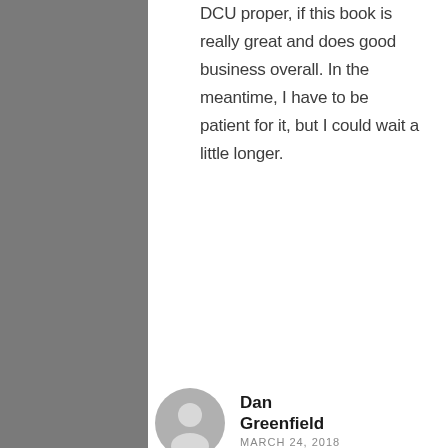DCU proper, if this book is really great and does good business overall. In the meantime, I have to be patient for it, but I could wait a little longer.
[Figure (other): Blue rounded rectangle button labeled 'Post a Reply']
[Figure (other): User avatar: gray circle with silhouette icon]
Dan Greenfield
MARCH 24, 2018